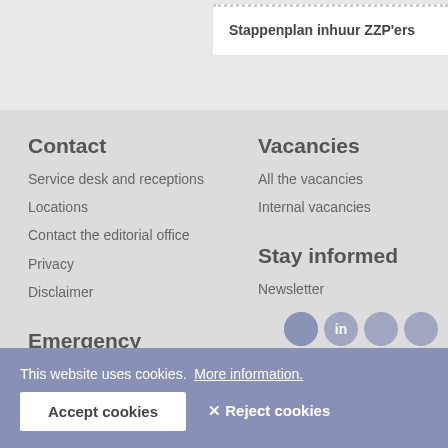Stappenplan inhuur ZZP'ers
Contact
Service desk and receptions
Locations
Contact the editorial office
Privacy
Disclaimer
Vacancies
All the vacancies
Internal vacancies
Emergency
Alarm numbers
Reporting unsafe situations
Stay informed
Newsletter
This website uses cookies.  More information.
Accept cookies
✕ Reject cookies